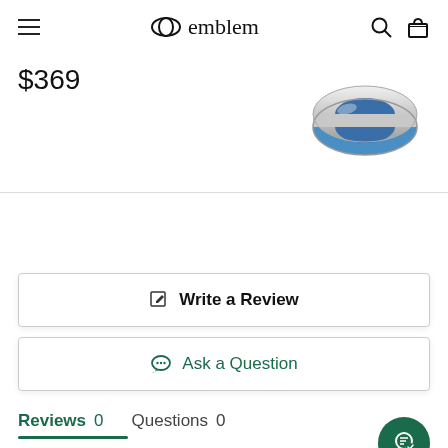emblem
$369
[Figure (photo): A silver band ring with a blue interior, viewed at an angle from above.]
Write a Review
Ask a Question
Reviews 0   Questions 0